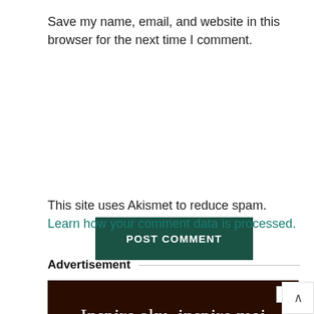Save my name, email, and website in this browser for the next time I comment.
POST COMMENT
This site uses Akismet to reduce spam. Learn how your comment data is processed.
Advertisement
[Figure (photo): Advertisement banner with dark brown background. Text reads: 'Inspire aku, inspire mai' and 'Quality Hawaiian materials for learners of all ages']